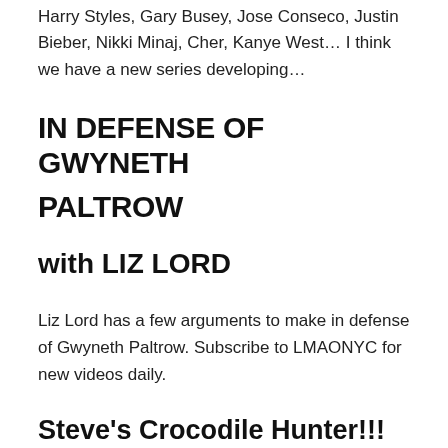Harry Styles, Gary Busey, Jose Conseco, Justin Bieber, Nikki Minaj, Cher, Kanye West… I think we have a new series developing…
IN DEFENSE OF GWYNETH PALTROW
with LIZ LORD
Liz Lord has a few arguments to make in defense of Gwyneth Paltrow. Subscribe to LMAONYC for new videos daily.
Steve's Crocodile Hunter!!!